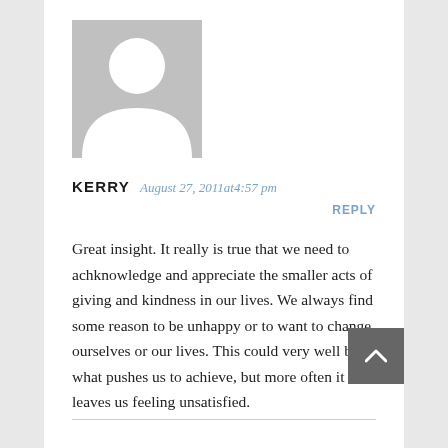[Figure (illustration): Default user avatar placeholder — gray rectangle with white silhouette of a person (head circle and shoulders arc)]
KERRY  August 27, 2011at4:57 pm
REPLY
Great insight. It really is true that we need to achknowledge and appreciate the smaller acts of giving and kindness in our lives. We always find some reason to be unhappy or to want to change ourselves or our lives. This could very well be what pushes us to achieve, but more often it leaves us feeling unsatisfied.